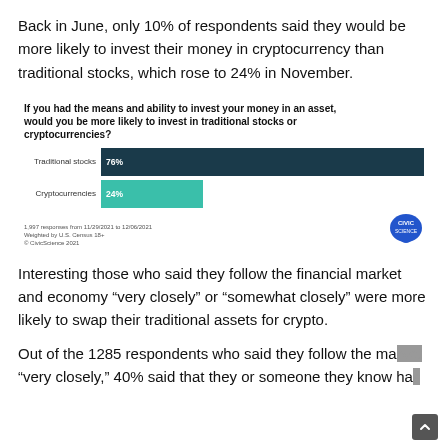Back in June, only 10% of respondents said they would be more likely to invest their money in cryptocurrency than traditional stocks, which rose to 24% in November.
[Figure (bar-chart): If you had the means and ability to invest your money in an asset, would you be more likely to invest in traditional stocks or cryptocurrencies?]
Interesting those who said they follow the financial market and economy “very closely” or “somewhat closely” were more likely to swap their traditional assets for crypto.
Out of the 1285 respondents who said they follow the market “very closely,” 40% said that they or someone they know has